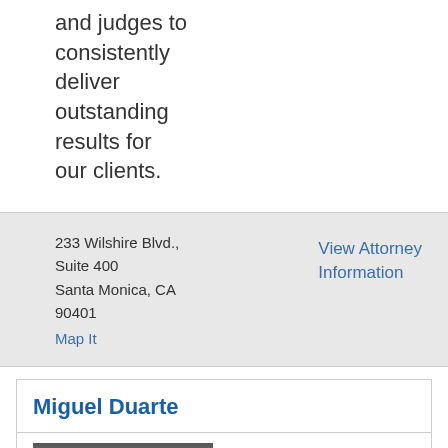and judges to consistently deliver outstanding results for our clients.
233 Wilshire Blvd., Suite 400
Santa Monica, CA 90401
Map It
View Attorney Information
Miguel Duarte
[Figure (photo): Partial photo of Miguel Duarte, partially cropped at bottom of page, showing top of person's head/face against dark background.]